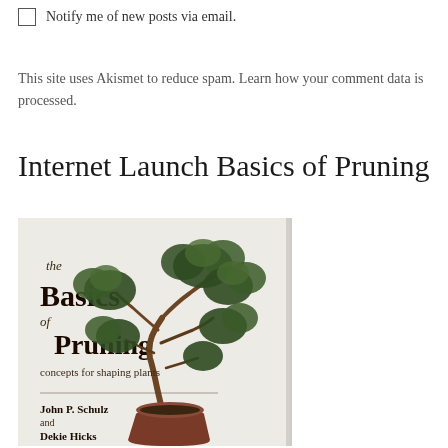Notify me of new posts via email.
This site uses Akismet to reduce spam. Learn how your comment data is processed.
Internet Launch Basics of Pruning
[Figure (photo): Book cover of 'the Basics of Pruning: concepts for shaping plants' by John P. Schulz and Dekie Hicks, featuring a bonsai tree in a pot against a light background.]